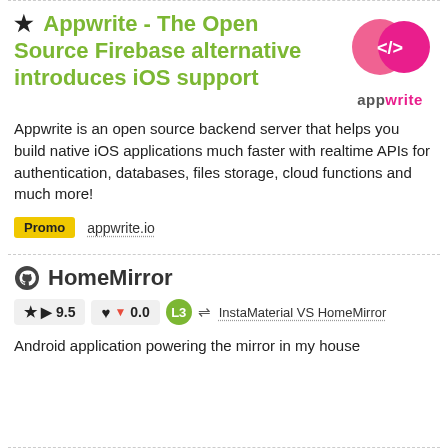★ Appwrite - The Open Source Firebase alternative introduces iOS support
[Figure (logo): Appwrite logo: pink circles with </> code icon and 'appwrite' text below]
Appwrite is an open source backend server that helps you build native iOS applications much faster with realtime APIs for authentication, databases, files storage, cloud functions and much more!
Promo   appwrite.io
HomeMirror
★ ▶ 9.5   ♥ ▼ 0.0   L3   ⇌ InstaMaterial VS HomeMirror
Android application powering the mirror in my house